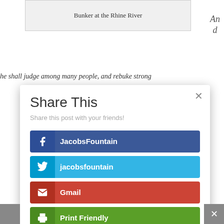Bunker at the Rhine River
An
d
he shall judge among many people, and rebuke strong
Share This
Share this post with your friends!
JacobsFountain
jacobsfountain
Gmail
Print Friendly
Like